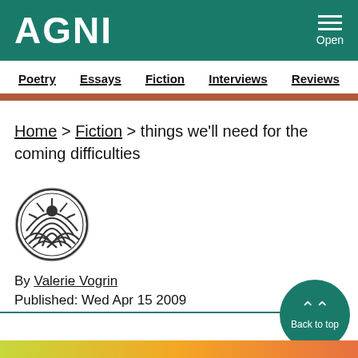AGNI
Open
Poetry  Essays  Fiction  Interviews  Reviews
Home > Fiction > things we'll need for the coming difficulties
[Figure (logo): AGNI circular logo with wave pattern in black and white]
By Valerie Vogrin
Published: Wed Apr 15 2009